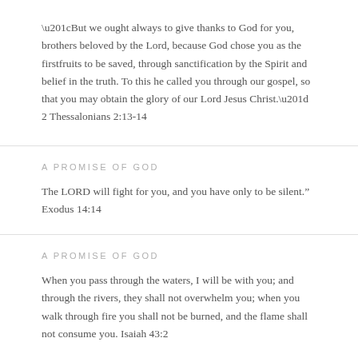“But we ought always to give thanks to God for you, brothers beloved by the Lord, because God chose you as the firstfruits to be saved, through sanctification by the Spirit and belief in the truth. To this he called you through our gospel, so that you may obtain the glory of our Lord Jesus Christ.” 2 Thessalonians 2:13-14
A PROMISE OF GOD
The LORD will fight for you, and you have only to be silent.” Exodus 14:14
A PROMISE OF GOD
When you pass through the waters, I will be with you; and through the rivers, they shall not overwhelm you; when you walk through fire you shall not be burned, and the flame shall not consume you. Isaiah 43:2